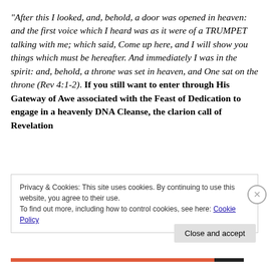“After this I looked, and, behold, a door was opened in heaven: and the first voice which I heard was as it were of a TRUMPET talking with me; which said, Come up here, and I will show you things which must be hereafter. And immediately I was in the spirit: and, behold, a throne was set in heaven, and One sat on the throne (Rev 4:1-2). If you still want to enter through His Gateway of Awe associated with the Feast of Dedication to engage in a heavenly DNA Cleanse, the clarion call of Revelation
Privacy & Cookies: This site uses cookies. By continuing to use this website, you agree to their use.
To find out more, including how to control cookies, see here: Cookie Policy